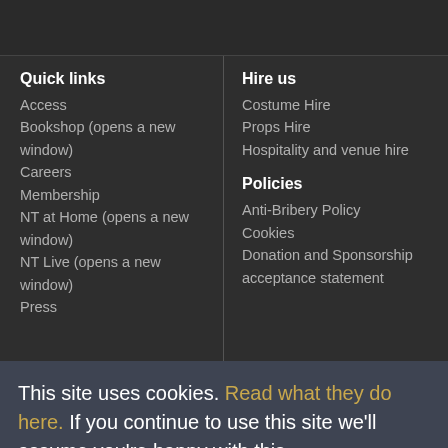Quick links
Access
Bookshop (opens a new window)
Careers
Membership
NT at Home (opens a new window)
NT Live (opens a new window)
Press
Hire us
Costume Hire
Props Hire
Hospitality and venue hire
Policies
Anti-Bribery Policy
Cookies
Donation and Sponsorship acceptance statement
This site uses cookies. Read what they do here. If you continue to use this site we'll assume you're happy with this.
Accept and close